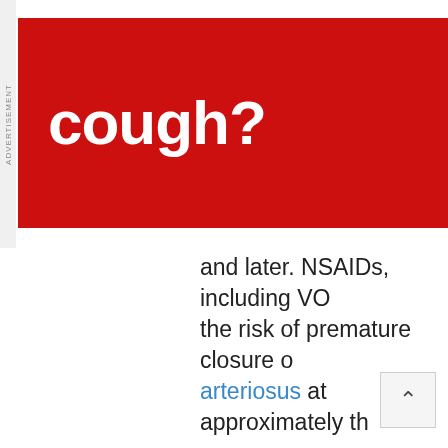[Figure (other): Red advertisement banner with white bold text reading 'cough?' on a dark red background]
and later. NSAIDs, including VO... the risk of premature closure o... arteriosus at approximately th...
Oligohydramnios/Neonatal Renal Im...
Use of NSAIDs, including VOLTA... weeks’ gestation or later in... cause fetal renal dysfunction le... oligohydramnios and, in some... renal impairment. These adver... seen, on average, after days to...